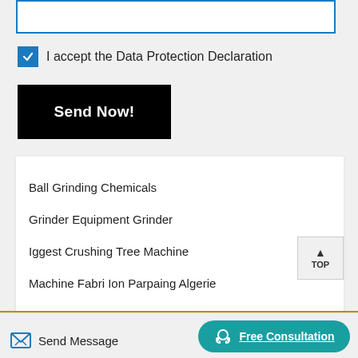[Figure (screenshot): Blue-bordered textarea input field at top of page]
I accept the Data Protection Declaration
Send Now!
Ball Grinding Chemicals
Grinder Equipment Grinder
Iggest Crushing Tree Machine
Machine Fabri Ion Parpaing Algerie
Oil Press Plant Machine Manufacturedd India
Send Message
Free Consultation